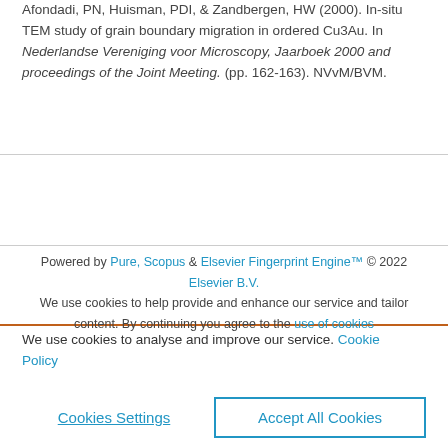Afondadi, PN, Huisman, PDI, & Zandbergen, HW (2000). In-situ TEM study of grain boundary migration in ordered Cu3Au. In Nederlandse Vereniging voor Microscopy, Jaarboek 2000 and proceedings of the Joint Meeting. (pp. 162-163). NVvM/BVM.
Powered by Pure, Scopus & Elsevier Fingerprint Engine™ © 2022 Elsevier B.V. We use cookies to help provide and enhance our service and tailor content. By continuing you agree to the use of cookies
We use cookies to analyse and improve our service. Cookie Policy
Cookies Settings | Accept All Cookies